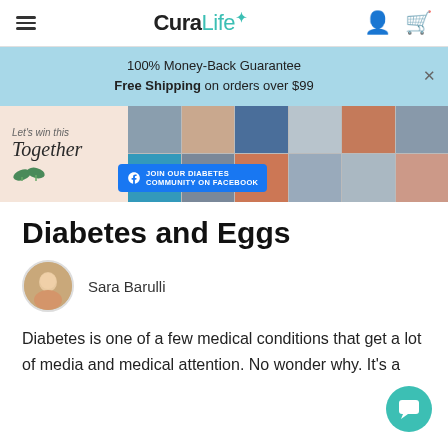CuraLife
100% Money-Back Guarantee
Free Shipping on orders over $99
[Figure (photo): CuraLife Facebook community ad banner with photos of diverse people and text 'Let's win this Together — Join our Diabetes Community on Facebook']
Diabetes and Eggs
Sara Barulli
Diabetes is one of a few medical conditions that get a lot of media and medical attention. No wonder why. It's a